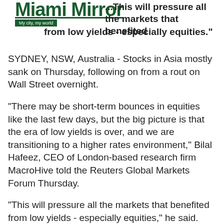Miami Mirror - My city, my world
...This will pressure all the markets that benefited from low yields - especially equities."
SYDNEY, NSW, Australia - Stocks in Asia mostly sank on Thursday, following on from a rout on Wall Street overnight.
"There may be short-term bounces in equities like the last few days, but the big picture is that the era of low yields is over, and we are transitioning to a higher rates environment," Bilal Hafeez, CEO of London-based research firm MacroHive told the Reuters Global Markets Forum Thursday.
"This will pressure all the markets that benefited from low yields - especially equities," he said.
In Japan, the Nikkei 225 shed 508.36 points or 1.89 percent to 26,402.84.